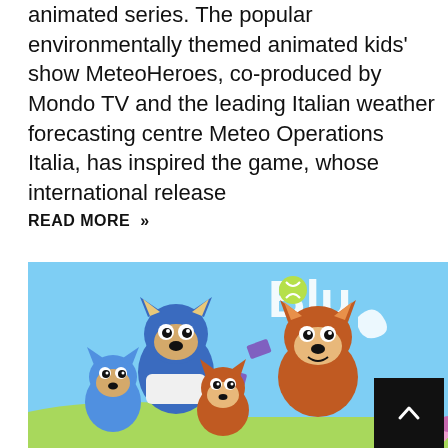animated series. The popular environmentally themed animated kids' show MeteoHeroes, co-produced by Mondo TV and the leading Italian weather forecasting centre Meteo Operations Italia, has inspired the game, whose international release
READ MORE »
[Figure (illustration): Bluey animated TV show promotional image showing cartoon dog characters (Bluey family) on a light blue background with the Bluey logo partially visible. A date badge showing '25 Feb' overlays the top right corner of the image.]